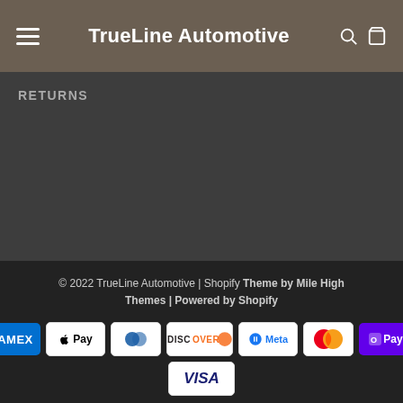TrueLine Automotive
RETURNS
© 2022 TrueLine Automotive | Shopify Theme by Mile High Themes | Powered by Shopify
[Figure (other): Payment method logos: American Express, Apple Pay, Diners Club, Discover, Meta Pay, Mastercard, Shop Pay, Visa]